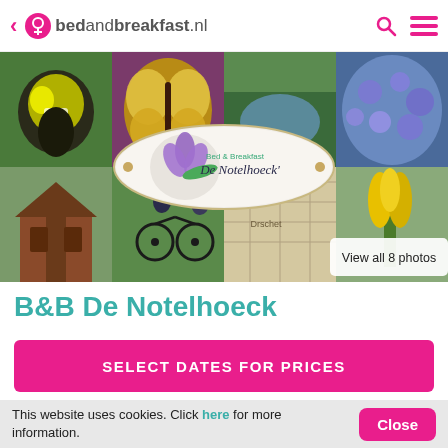bedandbreakfast.nl
[Figure (photo): Photo collage of B&B De Notelhoeck showing a bird, butterfly, garden, blue flowers, a chapel, cyclists, a map, and a yellow flower. Center oval logo reads 'Bed & Breakfast De Notelhoeck'. Button reads 'View all 8 photos'.]
B&B De Notelhoeck
SELECT DATES FOR PRICES
This website uses cookies. Click here for more information.
Close